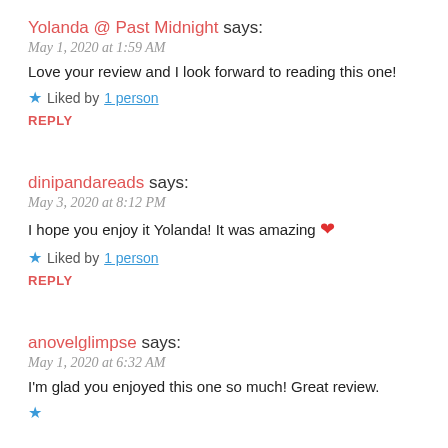Yolanda @ Past Midnight says:
May 1, 2020 at 1:59 AM
Love your review and I look forward to reading this one!
Liked by 1 person
REPLY
dinipandareads says:
May 3, 2020 at 8:12 PM
I hope you enjoy it Yolanda! It was amazing ❤
Liked by 1 person
REPLY
anovelglimpse says:
May 1, 2020 at 6:32 AM
I'm glad you enjoyed this one so much! Great review.